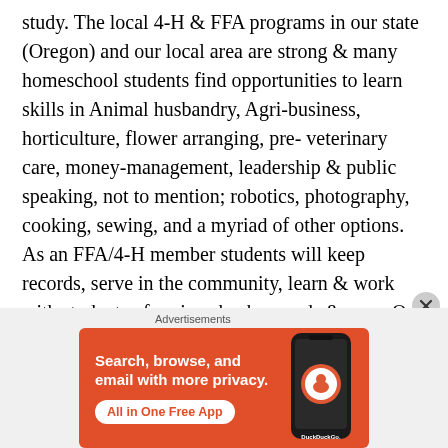study. The local 4-H & FFA programs in our state (Oregon) and our local area are strong & many homeschool students find opportunities to learn skills in Animal husbandry, Agri-business, horticulture, flower arranging, pre-veterinary care, money-management, leadership & public speaking, not to mention; robotics, photography, cooking, sewing, and a myriad of other options. As an FFA/4-H member students will keep records, serve in the community, learn & work with students of various backgrounds & ages. Our public schools & many of our private
[Figure (illustration): DuckDuckGo advertisement banner with orange background. Text reads 'Search, browse, and email with more privacy. All in One Free App' with a phone mockup showing DuckDuckGo app and logo.]